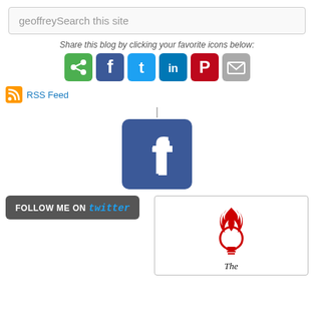geoffreySearch this site
Share this blog by clicking your favorite icons below:
[Figure (infographic): Row of social sharing icons: green share, blue Facebook, light-blue Twitter, dark-blue LinkedIn, red Pinterest, grey email]
RSS Feed
[Figure (logo): Facebook logo square icon with white 'f' on blue background]
[Figure (screenshot): Follow me on Twitter button with dark grey background and Twitter wordmark in blue]
[Figure (logo): Book cover logo: red flaming lightbulb icon above italic 'The' text]